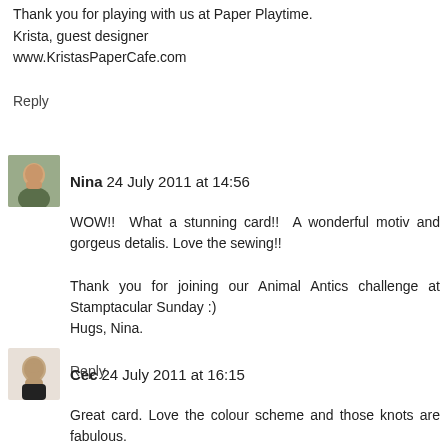Thank you for playing with us at Paper Playtime.
Krista, guest designer
www.KristasPaperCafe.com
Reply
Nina 24 July 2011 at 14:56
WOW!! What a stunning card!! A wonderful motiv and gorgeus detalis. Love the sewing!!

Thank you for joining our Animal Antics challenge at Stamptacular Sunday :)
Hugs, Nina.
Reply
Cec 24 July 2011 at 16:15
Great card. Love the colour scheme and those knots are fabulous.